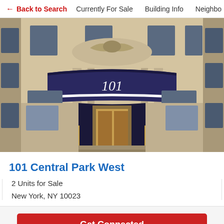← Back to Search   Currently For Sale   Building Info   Neighbo
[Figure (photo): Exterior photo of 101 Central Park West building entrance with navy blue awning showing the number 101, ornate stone facade with eagle sculpture above entrance, and brass stanchions]
101 Central Park West
2 Units for Sale
New York, NY 10023
Get Connected
2 West 70th Street, New York, NY 10023